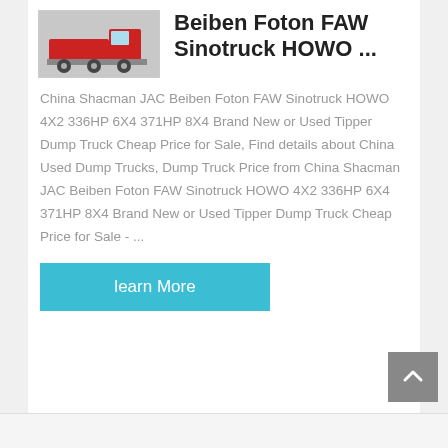[Figure (photo): Thumbnail image of a red dump truck (partial view)]
Beiben Foton FAW Sinotruck HOWO ...
China Shacman JAC Beiben Foton FAW Sinotruck HOWO 4X2 336HP 6X4 371HP 8X4 Brand New or Used Tipper Dump Truck Cheap Price for Sale, Find details about China Used Dump Trucks, Dump Truck Price from China Shacman JAC Beiben Foton FAW Sinotruck HOWO 4X2 336HP 6X4 371HP 8X4 Brand New or Used Tipper Dump Truck Cheap Price for Sale - ...
learn More